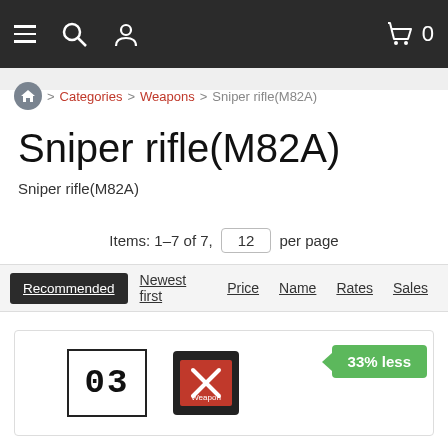Navigation bar with hamburger menu, search, user, and cart (0 items)
Categories > Weapons > Sniper rifle(M82A)
Sniper rifle(M82A)
Sniper rifle(M82A)
Items: 1–7 of 7,  12  per page
Recommended  Newest first  Price  Name  Rates  Sales
[Figure (screenshot): Product listing card showing product images labeled 03 and a red badge icon, with a green 33% less discount tag]